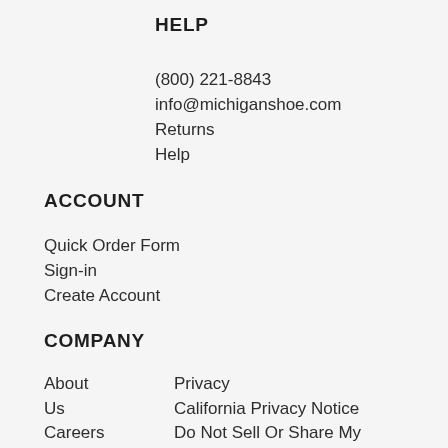HELP
(800) 221-8843
info@michiganshoe.com
Returns
Help
ACCOUNT
Quick Order Form
Sign-in
Create Account
COMPANY
About Us
Careers
Our
Team
Privacy
California Privacy Notice
Do Not Sell Or Share My Personal Information
Shipping